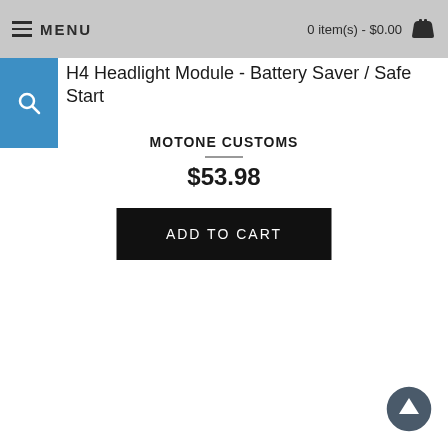MENU   0 item(s) - $0.00
H4 Headlight Module - Battery Saver / Safe Start
MOTONE CUSTOMS
$53.98
ADD TO CART